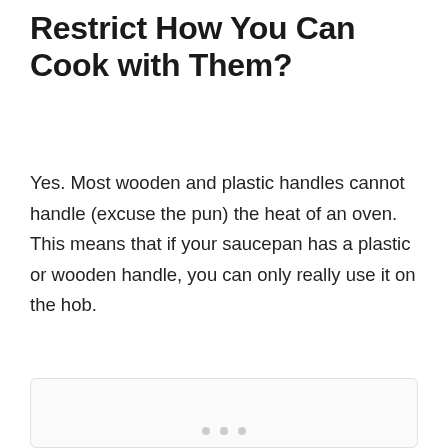Restrict How You Can Cook with Them?
Yes. Most wooden and plastic handles cannot handle (excuse the pun) the heat of an oven. This means that if your saucepan has a plastic or wooden handle, you can only really use it on the hob.
[Figure (photo): Image placeholder with three dots indicating a slideshow or carousel element]